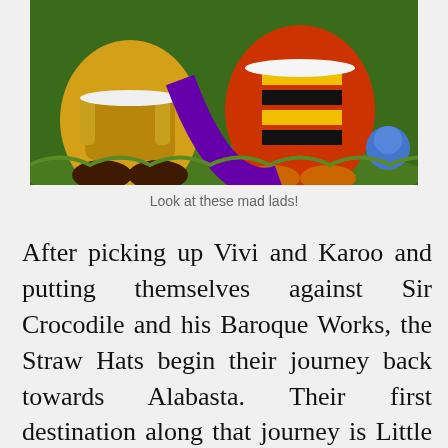[Figure (illustration): Colorful anime/manga style illustration showing large cartoon characters including giant warriors in vibrant yellow, red, black striped, and gold outfits on a grassy background. One character has a blue face visible in the corner.]
Look at these mad lads!
After picking up Vivi and Karoo and putting themselves against Sir Crocodile and his Baroque Works, the Straw Hats begin their journey back towards Alabasta. Their first destination along that journey is Little Garden, a prehistoric island inhabited by two giant warriors who have been engaged in a one-hundred year long duel. When Baroque…